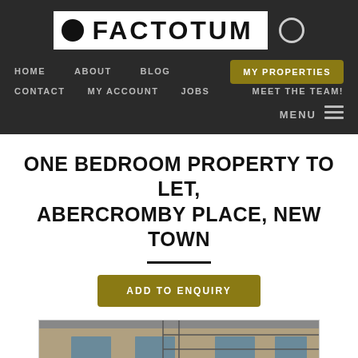[Figure (logo): Factotum logo: white rectangle with black filled circle, text FACTOTUM in bold black, followed by an outline circle on dark background]
HOME   ABOUT   BLOG   MY PROPERTIES   CONTACT   MY ACCOUNT   JOBS   MEET THE TEAM!   MENU
ONE BEDROOM PROPERTY TO LET, ABERCROMBY PLACE, NEW TOWN
ADD TO ENQUIRY
[Figure (photo): Exterior photograph of a stone tenement building with iron railings, partially visible at the bottom of the page]